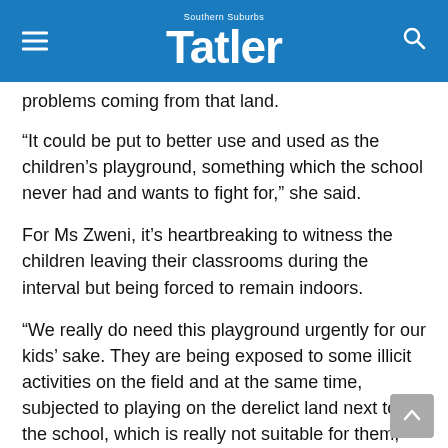Southern Suburbs Tatler
problems coming from that land.
“It could be put to better use and used as the children’s playground, something which the school never had and wants to fight for,” she said.
For Ms Zweni, it’s heartbreaking to witness the children leaving their classrooms during the interval but being forced to remain indoors.
“We really do need this playground urgently for our kids’ sake. They are being exposed to some illicit activities on the field and at the same time, subjected to playing on the derelict land next to the school, which is really not suitable for them, but there is not much we can do at this stage.”